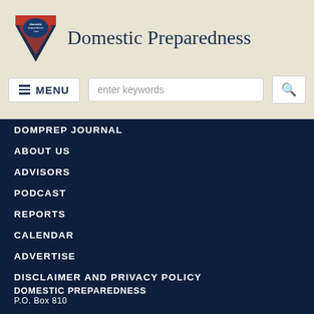[Figure (logo): Domestic Preparedness shield/badge logo with red, white, and blue design and text 'domesticpreparedness.com']
Domestic Preparedness
[Figure (screenshot): Navigation bar with MENU button and search input field with magnifying glass icon]
DOMPREP JOURNAL
ABOUT US
ADVISORS
PODCAST
REPORTS
CALENDAR
ADVERTISE
DISCLAIMER AND PRIVACY POLICY
PREPAREDNESS
RESILIENCE
HEALTHCARE
UPDATES
COMMENTARY
DOMESTIC PREPAREDNESS
P.O. Box 810